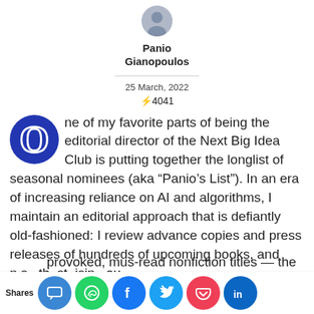[Figure (photo): Author avatar photo, circular crop, top-center of page]
Panio Gianopoulos
25 March, 2022
⚡4041
One of my favorite parts of being the editorial director of the Next Big Idea Club is putting together the longlist of seasonal nominees (aka “Panio’s List”). In an era of increasing reliance on AI and algorithms, I maintain an editorial approach that is defiantly old-fashioned: I review advance copies and press releases of hundreds of upcoming books, and n s th st isin ou provoked, mus-read nonfiction titles — the
Shares